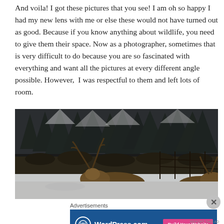And voila! I got these pictures that you see! I am oh so happy I had my new lens with me or else these would not have turned out as good. Because if you know anything about wildlife, you need to give them their space. Now as a photographer, sometimes that is very difficult to do because you are so fascinated with everything and want all the pictures at every different angle possible. However, I was respectful to them and left lots of room.
[Figure (photo): Winter landscape photo showing snow-covered ground with elk/deer in the foreground and dense evergreen trees dusted with snow in the background]
Advertisements
[Figure (other): WordPress.com advertisement banner with blue background, WordPress logo, and 'Build Your Website' pink button]